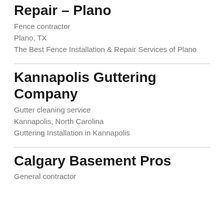Repair – Plano
Fence contractor
Plano, TX
The Best Fence Installation & Repair Services of Plano
Kannapolis Guttering Company
Gutter cleaning service
Kannapolis, North Carolina
Guttering Installation in Kannapolis
Calgary Basement Pros
General contractor